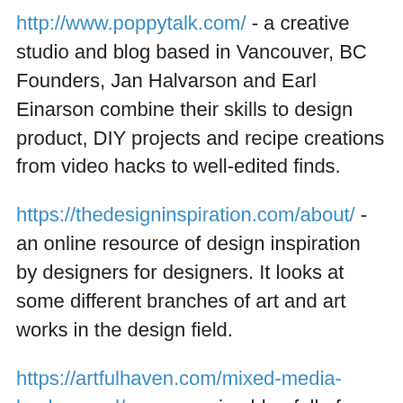http://www.poppytalk.com/ - a creative studio and blog based in Vancouver, BC Founders, Jan Halvarson and Earl Einarson combine their skills to design product, DIY projects and recipe creations from video hacks to well-edited finds.
https://thedesigninspiration.com/about/ - an online resource of design inspiration by designers for designers. It looks at some different branches of art and art works in the design field.
https://artfulhaven.com/mixed-media-background/ - an amazing blog full of tutorials to help you explore art journaling and mixed media techniques.
https://thegraphicsfairy.com/transfer-an-image-